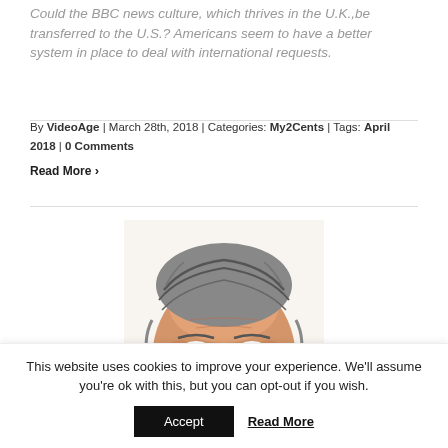Could the BBC news culture, which thrives in the U.K.,be transferred to the U.S.? Americans seem to have a better system in place to deal with international requests.
By VideoAge | March 28th, 2018 | Categories: My2Cents | Tags: April 2018 | 0 Comments
Read More ›
[Figure (illustration): Illustrated portrait of a middle-aged man with grey hair, looking directly at viewer, showing upper face and forehead]
This website uses cookies to improve your experience. We'll assume you're ok with this, but you can opt-out if you wish.
Accept | Read More